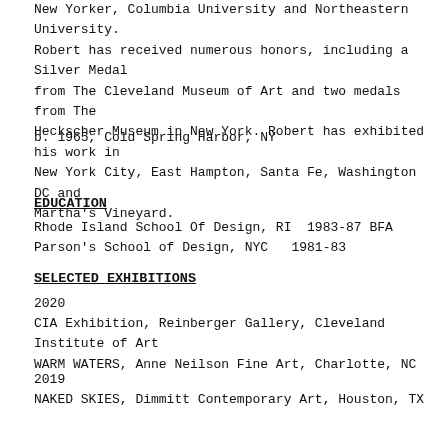New Yorker, Columbia University and Northeastern University. Robert has received numerous honors, including a Silver Medal from The Cleveland Museum of Art and two medals from The Heckscher Museum in New York. Robert has exhibited his work in New York City, East Hampton, Santa Fe, Washington DC and Martha's Vineyard.
b. 1965, Cold Spring Harbor, NY
EDUCATION
Rhode Island School Of Design, RI  1983-87 BFA
Parson's School of Design, NYC   1981-83
SELECTED EXHIBITIONS
2020
CIA Exhibition, Reinberger Gallery, Cleveland Institute of Art
WARM WATERS, Anne Neilson Fine Art, Charlotte, NC
2019
NAKED SKIES, Dimmitt Contemporary Art, Houston, TX